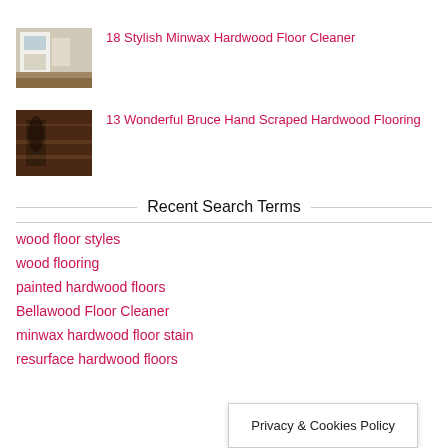[Figure (photo): Kitchen interior with dark hardwood floors thumbnail]
18 Stylish Minwax Hardwood Floor Cleaner
[Figure (photo): Dark hand scraped hardwood flooring thumbnail]
13 Wonderful Bruce Hand Scraped Hardwood Flooring
Recent Search Terms
wood floor styles
wood flooring
painted hardwood floors
Bellawood Floor Cleaner
minwax hardwood floor stain
resurface hardwood floors
Privacy & Cookies Policy